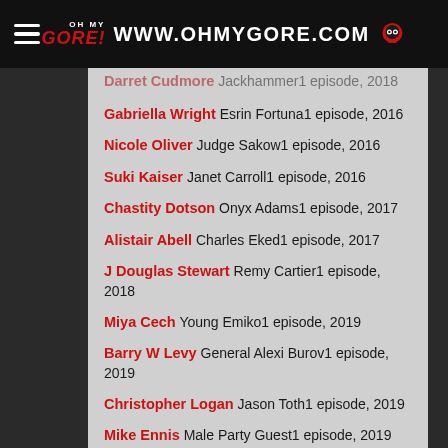WWW.OHMYGORE.COM
Darret Cudmore   Jackhammer1 episode, 2018
Gabriella Wright   Esrin Fortuna1 episode, 2016
Nicole Oliver   Judge Sakow1 episode, 2016
Suki Kaiser   Janet Carroll1 episode, 2016
Chastity Dotson   Onyx Adams1 episode, 2017
Alistair Abell   Charles Eked1 episode, 2017
J Douglas Stewart   Remy Cartier1 episode, 2018
Miya Cech   Young Emiko1 episode, 2019
Barry W Levy   General Alexi Burov1 episode, 2019
Christopher Logan   Jason Toth1 episode, 2019
Mike Ennis   Male Party Guest1 episode, 2019
Chad Duell   Trevor1 episode, 2020
Tahmoh Penikett   Nick Salvati1 episode, 2012